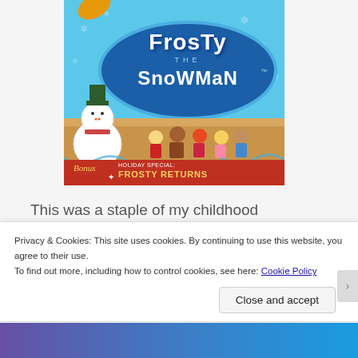[Figure (illustration): DVD/video cover art for 'Frosty the Snowman' holiday special. Blue background with title in white lettering on a dark blue oval badge. Snowman character on left, group of children on right. Bottom red strip reads 'Bonus Holiday Special: Frosty Returns'.]
This was a staple of my childhood Christmases. I watched it multiple times every year around Christmas time and I basically had the whole movie
Privacy & Cookies: This site uses cookies. By continuing to use this website, you agree to their use.
To find out more, including how to control cookies, see here: Cookie Policy
Close and accept